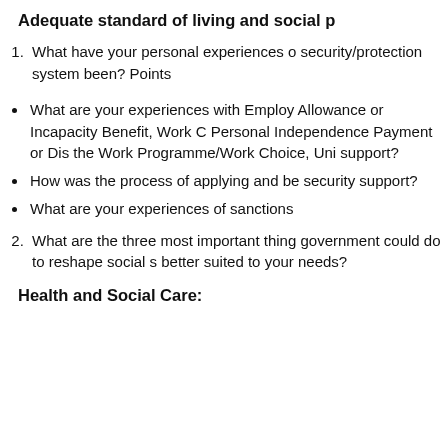Adequate standard of living and social p
What have your personal experiences o security/protection system been? Points
What are your experiences with Employ Allowance or Incapacity Benefit, Work C Personal Independence Payment or Dis the Work Programme/Work Choice, Uni support?
How was the process of applying and be security support?
What are your experiences of sanctions
What are the three most important thing government could do to reshape social s better suited to your needs?
Health and Social Care: